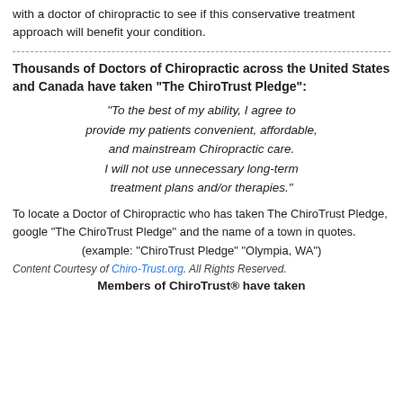with a doctor of chiropractic to see if this conservative treatment approach will benefit your condition.
Thousands of Doctors of Chiropractic across the United States and Canada have taken "The ChiroTrust Pledge":
"To the best of my ability, I agree to provide my patients convenient, affordable, and mainstream Chiropractic care. I will not use unnecessary long-term treatment plans and/or therapies."
To locate a Doctor of Chiropractic who has taken The ChiroTrust Pledge, google "The ChiroTrust Pledge" and the name of a town in quotes.
(example: "ChiroTrust Pledge" "Olympia, WA")
Content Courtesy of Chiro-Trust.org. All Rights Reserved.
Members of ChiroTrust® have taken